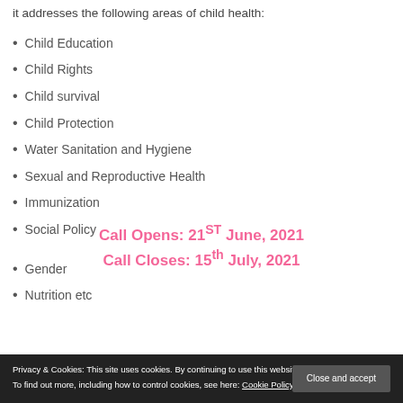it addresses the following areas of child health:
Child Education
Child Rights
Child survival
Child Protection
Water Sanitation and Hygiene
Sexual and Reproductive Health
Immunization
Social Policy
Gender
Nutrition etc
Privacy & Cookies: This site uses cookies. By continuing to use this website, you agree to their use.
To find out more, including how to control cookies, see here: Cookie Policy
Call Opens: 21ST June, 2021
Call Closes: 15th July, 2021